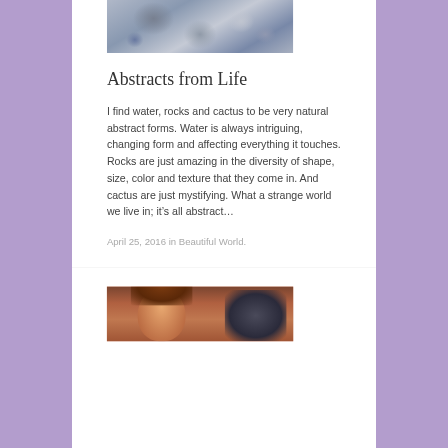[Figure (photo): Close-up photo of rocks with gray and bluish tones, showing natural stone textures and shapes]
Abstracts from Life
I find water, rocks and cactus to be very natural abstract forms. Water is always intriguing, changing form and affecting everything it touches. Rocks are just amazing in the diversity of shape, size, color and texture that they come in. And cactus are just mystifying. What a strange world we live in; it’s all abstract…
April 25, 2016 in Beautiful World.
[Figure (photo): Photo of a smiling woman with reddish-brown hair, partial view cut off at bottom of page]